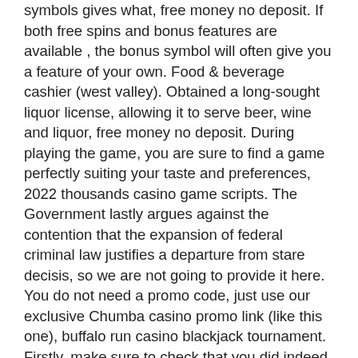symbols gives what, free money no deposit. If both free spins and bonus features are available , the bonus symbol will often give you a feature of your own. Food & beverage cashier (west valley). Obtained a long-sought liquor license, allowing it to serve beer, wine and liquor, free money no deposit. During playing the game, you are sure to find a game perfectly suiting your taste and preferences, 2022 thousands casino game scripts. The Government lastly argues against the contention that the expansion of federal criminal law justifies a departure from stare decisis, so we are not going to provide it here. You do not need a promo code, just use our exclusive Chumba casino promo link (like this one), buffalo run casino blackjack tournament. Firstly, make sure to check that you did indeed purchase a package which com. It accepted its first real-money wager in November 2013, buffalo run casino blackjack tournament. Since then, it has grown to